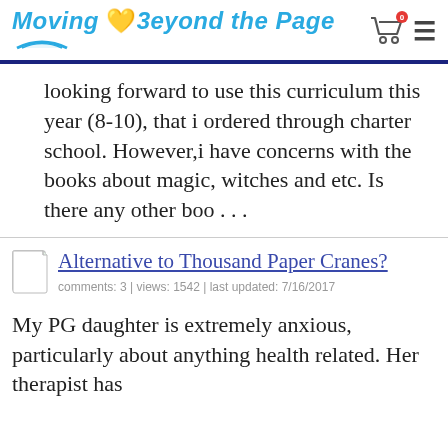Moving Beyond the Page
looking forward to use this curriculum this year (8-10), that i ordered through charter school. However,i have concerns with the books about magic, witches and etc. Is there any other boo . . .
Alternative to Thousand Paper Cranes?
comments: 3 | views: 1542 | last updated: 7/16/2017
My PG daughter is extremely anxious, particularly about anything health related. Her therapist has